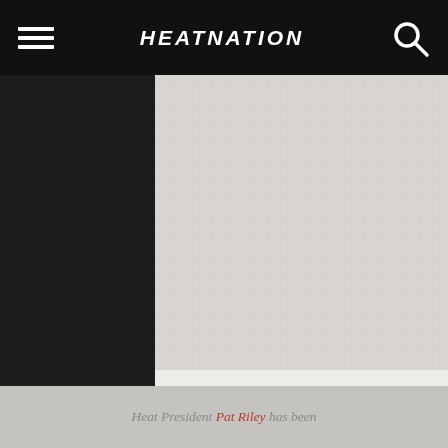HEATNATION
[Figure (photo): Large article image placeholder with light gray textured background]
In response, the NBA has fined the 76-year-old executive for violating the league's anti-tampering rule.
Heat President Pat Riley has been